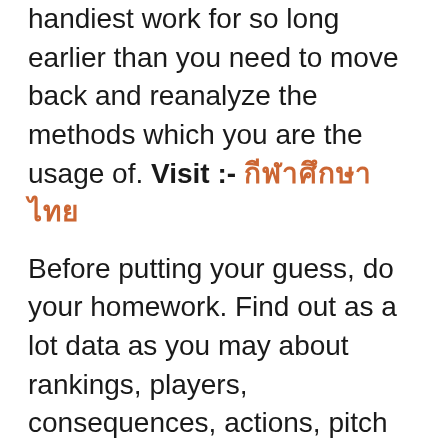handiest work for so long earlier than you need to move back and reanalyze the methods which you are the usage of. Visit :- กีฬาศึกษาไทย
Before putting your guess, do your homework. Find out as a lot data as you may about rankings, players, consequences, actions, pitch conditions, everything – then take a seat down and analyze what happens and to who. That way that every week while the consequences come out, you need to feature for your data and reanalyze so that you can advantage from this up to date facts.